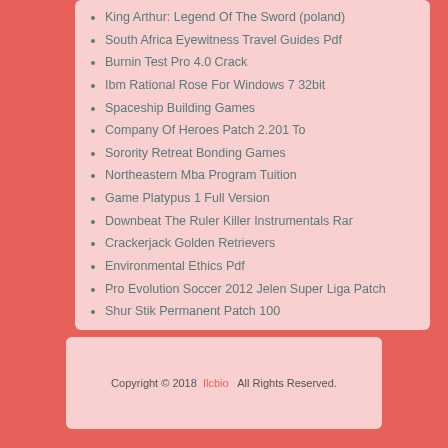King Arthur: Legend Of The Sword (poland)
South Africa Eyewitness Travel Guides Pdf
Burnin Test Pro 4.0 Crack
Ibm Rational Rose For Windows 7 32bit
Spaceship Building Games
Company Of Heroes Patch 2.201 To
Sorority Retreat Bonding Games
Northeastern Mba Program Tuition
Game Platypus 1 Full Version
Downbeat The Ruler Killer Instrumentals Rar
Crackerjack Golden Retrievers
Environmental Ethics Pdf
Pro Evolution Soccer 2012 Jelen Super Liga Patch
Shur Stik Permanent Patch 100
Copyright © 2018  Ilcbio   All Rights Reserved.